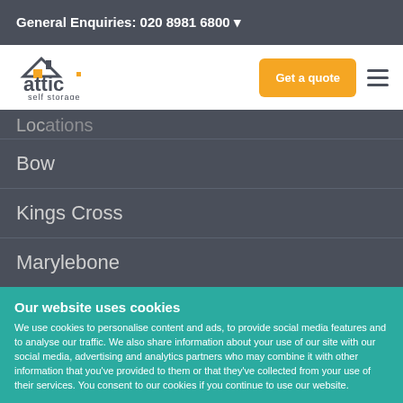General Enquiries: 020 8981 6800
[Figure (logo): Attic self storage logo with house/roof icon]
Get a quote
Bow
Kings Cross
Marylebone
Our website uses cookies
We use cookies to personalise content and ads, to provide social media features and to analyse our traffic. We also share information about your use of our site with our social media, advertising and analytics partners who may combine it with other information that you've provided to them or that they've collected from your use of their services. You consent to our cookies if you continue to use our website.
OK
Settings